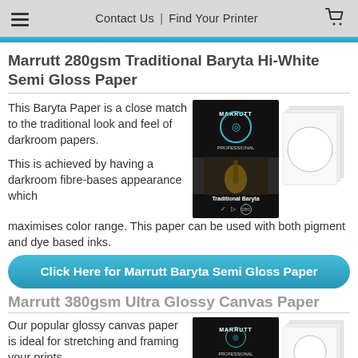Contact Us | Find Your Printer
Marrutt 280gsm Traditional Baryta Hi-White Semi Gloss Paper
This Baryta Paper is a close match to the traditional look and feel of darkroom papers.
[Figure (photo): Product images: Marrutt Traditional Baryta inkjet paper packaging (dark with violin image) and stacked paper sheets with circle cutout]
This is achieved by having a darkroom fibre-bases appearance which maximises color range. This paper can be used with both pigment and dye based inks.
Click Here for Marrutt Baryta Semi Gloss Paper
Marrutt 380gsm Ultra Glossy Canvas Paper
Our popular glossy canvas paper is ideal for stretching and framing your prints.
[Figure (photo): Product images: Marrutt professional inkjet paper packaging (dark with castle image) and stacked paper sheets with circle cutout]